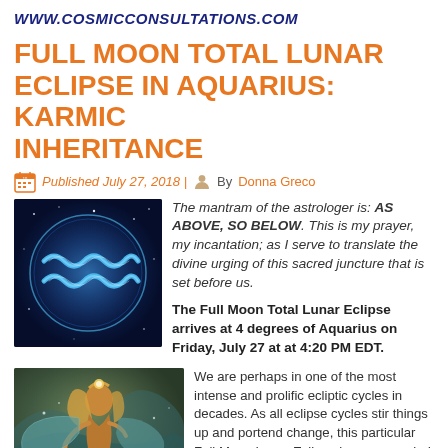WWW.COSMICCONSULTATIONS.COM
FULL MOON TOTAL LUNAR ECLIPSE IN AQUARIUS: KARMIC INHERITANCE
Published July 27, 2018 | By Donna Greco
[Figure (illustration): Aquarius zodiac symbol — glowing blue waves/water bearer symbol on a dark starry cosmic background]
The mantram of the astrologer is: AS ABOVE, SO BELOW.  This is my prayer, my incantation; as I serve to translate the divine urging of this sacred juncture that is set before us.
The Full Moon Total Lunar Eclipse arrives at 4 degrees of Aquarius on Friday, July 27 at at 4:20 PM EDT.
[Figure (illustration): A mystical figure of a golden-haired woman with wings or flowing robes in teal/blue tones, holding something, surrounded by cosmic elements]
We are perhaps in one of the most intense and prolific ecliptic cycles in decades.  As all eclipse cycles stir things up and portend change, this particular Full Moon Lunar Eclipse is accompanied by